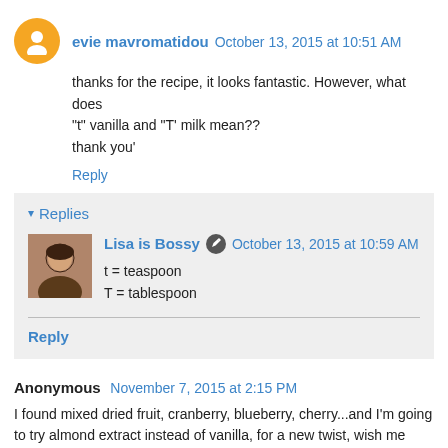evie mavromatidou  October 13, 2015 at 10:51 AM
thanks for the recipe, it looks fantastic. However, what does "t" vanilla and "T' milk mean??
thank you'
Reply
Replies
Lisa is Bossy  October 13, 2015 at 10:59 AM
t = teaspoon
T = tablespoon
Reply
Anonymous  November 7, 2015 at 2:15 PM
I found mixed dried fruit, cranberry, blueberry, cherry...and I'm going to try almond extract instead of vanilla, for a new twist, wish me luck